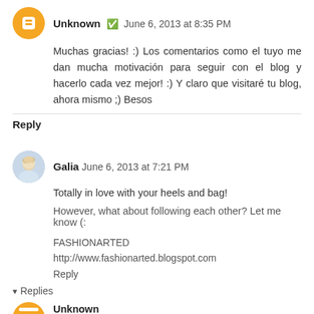Unknown · June 6, 2013 at 8:35 PM
Muchas gracias! :) Los comentarios como el tuyo me dan mucha motivación para seguir con el blog y hacerlo cada vez mejor! :) Y claro que visitaré tu blog, ahora mismo ;) Besos
Reply
Galia  June 6, 2013 at 7:21 PM
Totally in love with your heels and bag!
However, what about following each other? Let me know (:
FASHIONARTED
http://www.fashionarted.blogspot.com
Reply
▾  Replies
Unknown